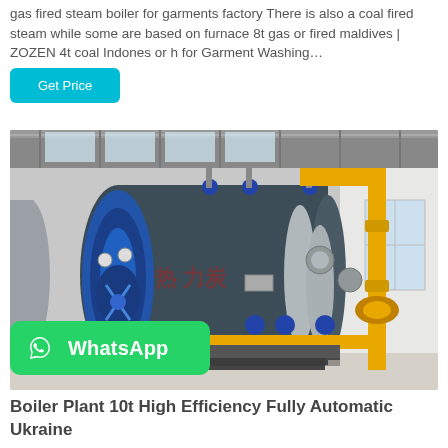gas fired steam boiler for garments factory There is also a coal fired steam while some are based on furnace 8t gas or fired maldives | ZOZEN 4t coal Indones or h for Garment Washing…
Get Price
[Figure (photo): Industrial boiler plant with a large dark cylindrical steam boiler with blue burner assembly on the left, yellow gas pipes on the right, inside a factory building with white walls and metal roof structure.]
WhatsApp
Boiler Plant 10t High Efficiency Fully Automatic Ukraine